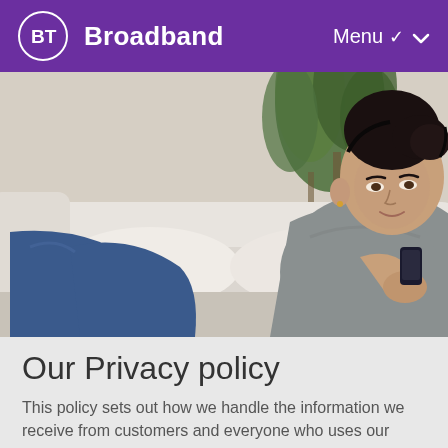BT Broadband — Menu
[Figure (photo): A woman with dark hair in a bun, wearing a grey top and blue jeans, reclining on a white sofa and talking on a mobile phone. A yellow cushion and green houseplant are visible in the background.]
Our Privacy policy
This policy sets out how we handle the information we receive from customers and everyone who uses our products and services. We take this seriously and will